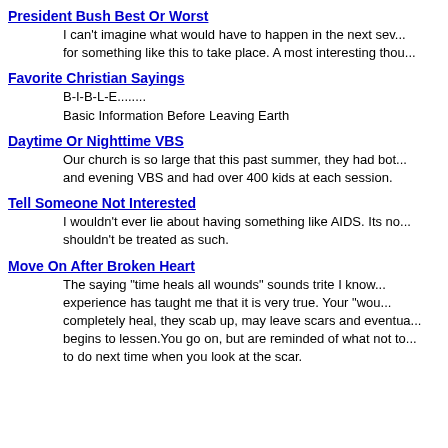President Bush Best Or Worst
I can't imagine what would have to happen in the next sev... for something like this to take place. A most interesting thou...
Favorite Christian Sayings
B-I-B-L-E........
Basic Information Before Leaving Earth
Daytime Or Nighttime VBS
Our church is so large that this past summer, they had bot... and evening VBS and had over 400 kids at each session.
Tell Someone Not Interested
I wouldn't ever lie about having something like AIDS. Its no... shouldn't be treated as such.
Move On After Broken Heart
The saying "time heals all wounds" sounds trite I know... experience has taught me that it is very true. Your "wou... completely heal, they scab up, may leave scars and eventua... begins to lessen. You go on, but are reminded of what not to... to do next time when you look at the scar.